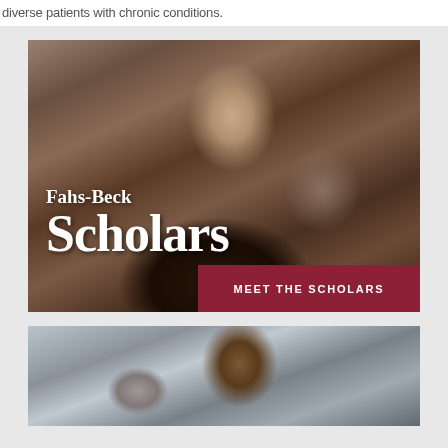diverse patients with chronic conditions.
[Figure (photo): Woman with glasses sitting on couch, writing and using laptop, with overlay text 'Fahs-Beck Scholars' and a dark red button 'MEET THE SCHOLARS']
[Figure (photo): Man wearing glasses, smiling, in professional setting with printer visible in background]